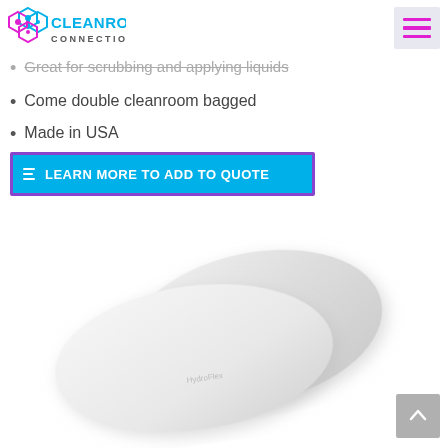Cleanroom Connection – navigation header with logo and hamburger menu
Great for scrubbing and applying liquids
Come double cleanroom bagged
Made in USA
LEARN MORE TO ADD TO QUOTE
[Figure (photo): White/light-grey cleanroom sponge or pad product shot on white background, with faint 'HydroFlex' branding, shown at an angle]